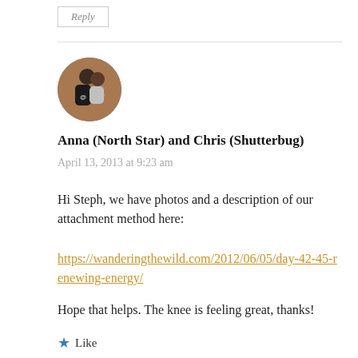Reply
[Figure (photo): Circular avatar photo of two people hugging, one wearing a black shirt, outdoor setting with warm tones]
Anna (North Star) and Chris (Shutterbug)
April 13, 2013 at 9:23 am
Hi Steph, we have photos and a description of our attachment method here:
https://wanderingthewild.com/2012/06/05/day-42-45-renewing-energy/
Hope that helps. The knee is feeling great, thanks!
Like